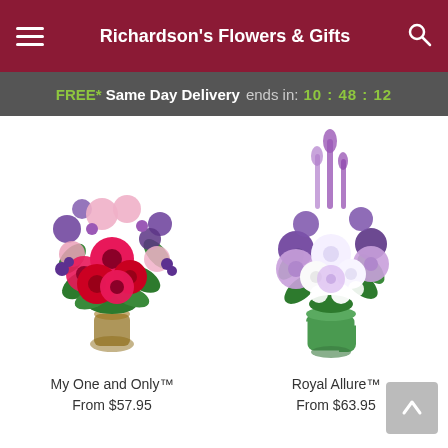Richardson's Flowers & Gifts
FREE* Same Day Delivery ends in: 10:48:12
[Figure (photo): Floral arrangement called My One and Only in a glass vase with red roses, pink gerbera daisies, and purple flowers]
My One and Only™
From $57.95
[Figure (photo): Floral arrangement called Royal Allure in a green and white swirl vase with purple, lavender, and white flowers]
Royal Allure™
From $63.95